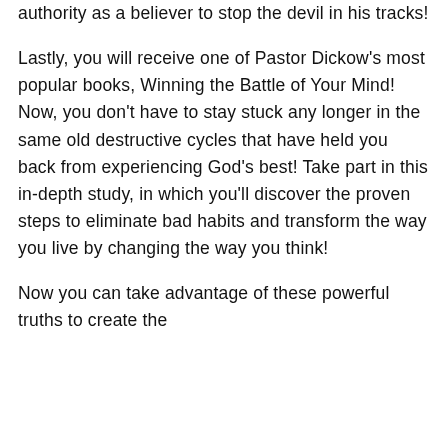authority as a believer to stop the devil in his tracks!
Lastly, you will receive one of Pastor Dickow's most popular books, Winning the Battle of Your Mind! Now, you don't have to stay stuck any longer in the same old destructive cycles that have held you back from experiencing God's best! Take part in this in-depth study, in which you'll discover the proven steps to eliminate bad habits and transform the way you live by changing the way you think!
Now you can take advantage of these powerful truths to create the